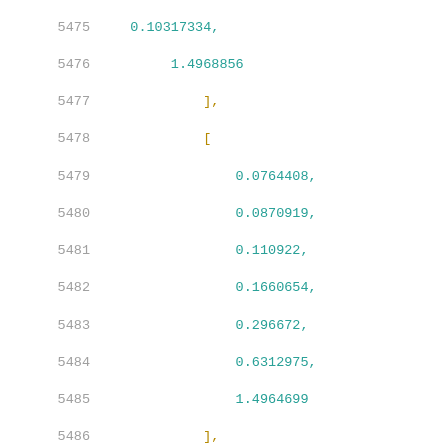5475 ... (partial line at top)
5476     1.4968856
5477 ],
5478 [
5479     0.0764408,
5480     0.0870919,
5481     0.110922,
5482     0.1660654,
5483     0.296672,
5484     0.6312975,
5485     1.4964699
5486 ],
5487 [
5488     0.0763709,
5489     0.0880005,
5490     0.1111973,
5491     0.1662921,
5492     0.2962706,
5493     0.6322349,
5494     1.4955139
5495 ],
5496 [